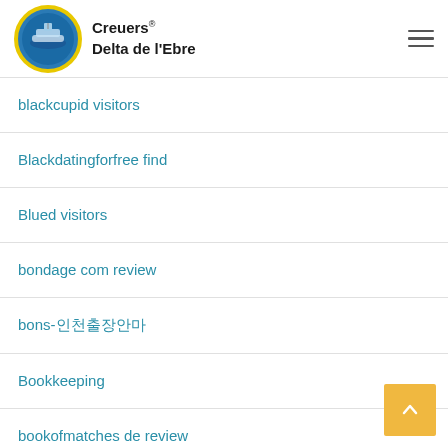Creuers Delta de l'Ebre
blackcupid visitors
Blackdatingforfree find
Blued visitors
bondage com review
bons-인천출장안마
Bookkeeping
bookofmatches de review
Bookofmatches find